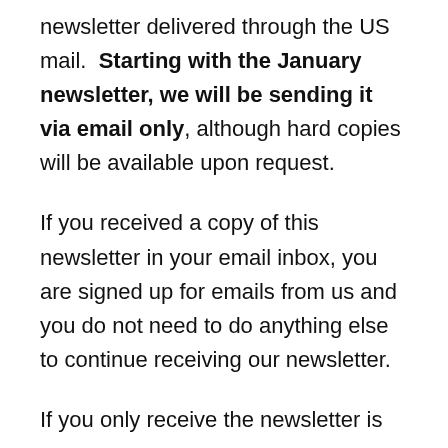newsletter delivered through the US mail.  Starting with the January newsletter, we will be sending it via email only, although hard copies will be available upon request.
If you received a copy of this newsletter in your email inbox, you are signed up for emails from us and you do not need to do anything else to continue receiving our newsletter.
If you only receive the newsletter is